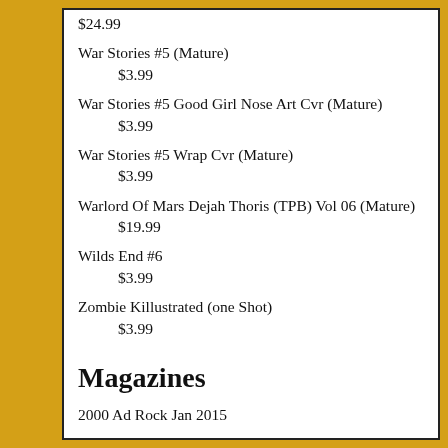$24.99
War Stories #5 (Mature)
$3.99
War Stories #5 Good Girl Nose Art Cvr (Mature)
$3.99
War Stories #5 Wrap Cvr (Mature)
$3.99
Warlord Of Mars Dejah Thoris (TPB) Vol 06 (Mature)
$19.99
Wilds End #6
$3.99
Zombie Killustrated (one Shot)
$3.99
Magazines
2000 Ad Rock Jan 2015